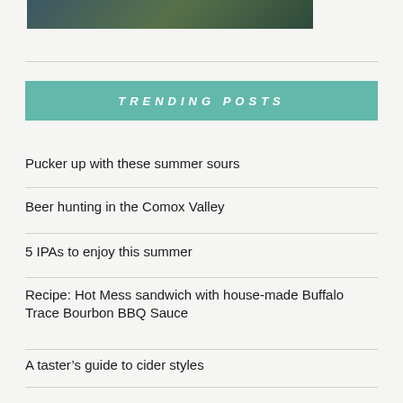[Figure (photo): Partial view of a photo showing grains/hops ingredients for beer on a dark surface]
TRENDING POSTS
Pucker up with these summer sours
Beer hunting in the Comox Valley
5 IPAs to enjoy this summer
Recipe: Hot Mess sandwich with house-made Buffalo Trace Bourbon BBQ Sauce
A taster's guide to cider styles